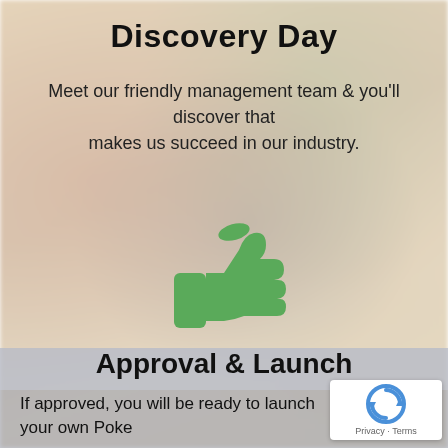Discovery Day
Meet our friendly management team & you'll discover that makes us succeed in our industry.
[Figure (illustration): Green thumbs-up emoji / like icon centered on the page over a blurred food background]
Approval & Launch
If approved, you will be ready to launch your own Poke